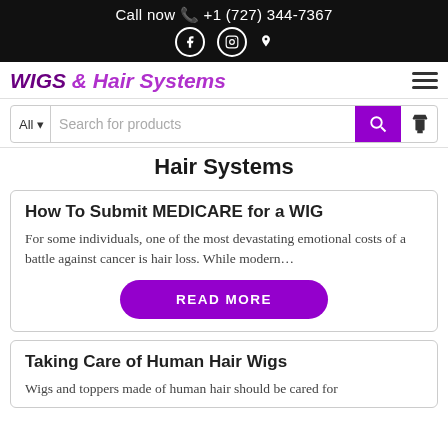Call now +1 (727) 344-7367
WIGS & Hair Systems
Search for products
Hair Systems
How To Submit MEDICARE for a WIG
For some individuals, one of the most devastating emotional costs of a battle against cancer is hair loss. While modern…
READ MORE
Taking Care of Human Hair Wigs
Wigs and toppers made of human hair should be cared for